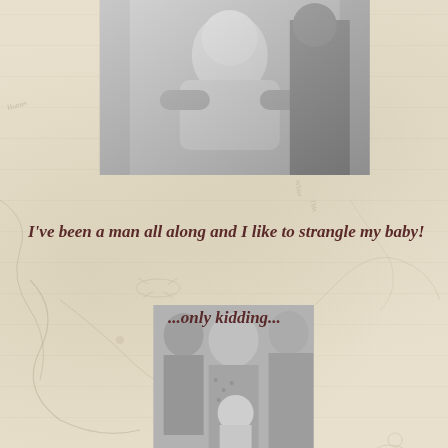[Figure (photo): Black and white photograph at top of page showing an adult holding a baby, cropped at top and sides]
I've been a man all along and I like to strangle my baby!
...only kidding...
[Figure (photo): Black and white photograph at bottom showing an older woman holding a baby, with other people partly visible in background]